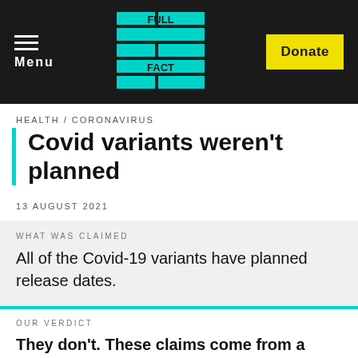Menu | FULL FACT | Donate
HEALTH / CORONAVIRUS
Covid variants weren't planned
13 AUGUST 2021
WHAT WAS CLAIMED
All of the Covid-19 variants have planned release dates.
OUR VERDICT
They don't. These claims come from a document that seems to be fake that has been circulating since July and